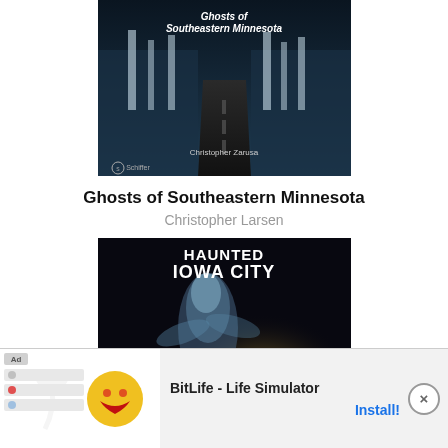[Figure (illustration): Book cover for 'Ghosts of Southeastern Minnesota' by Christopher Larsen, showing a dark road with winter trees and dramatic night sky, Schiffer publisher logo]
Ghosts of Southeastern Minnesota
Christopher Larsen
[Figure (illustration): Book cover for 'Haunted Iowa City' by Vernon Trollinger, showing a ghostly figure with moonlight, part of Haunted America series]
Haunted Iowa City
Vernon Trollinger
[Figure (screenshot): Advertisement banner for BitLife - Life Simulator app with Install button and close button, showing Ad label and game imagery]